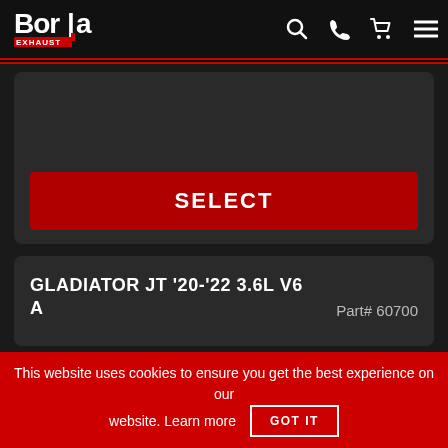Borla Exhaust
[Figure (screenshot): SELECT button on dark card]
GLADIATOR JT '20-'22 3.6L V6 A — Part# 60700
This website uses cookies to ensure you get the best experience on our website. Learn more GOT IT